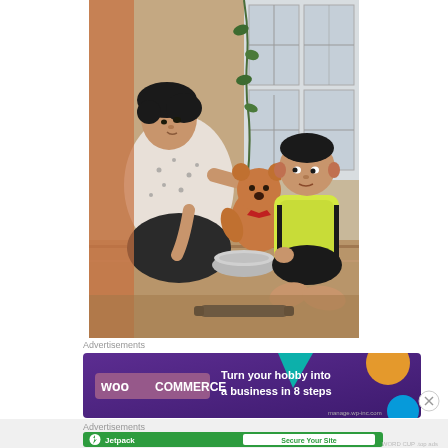[Figure (photo): A woman sitting on the floor feeding or interacting with a young boy who holds a teddy bear. A metal bowl is on the floor between them. Indoor setting with a window in the background.]
Advertisements
[Figure (other): WooCommerce advertisement banner: purple/dark background with text 'Turn your hobby into a business in 8 steps' and WooCommerce logo. Colorful geometric shapes decorating the right side.]
Advertisements
[Figure (other): Jetpack advertisement banner: green background with Jetpack logo on left and 'Secure Your Site' button on right.]